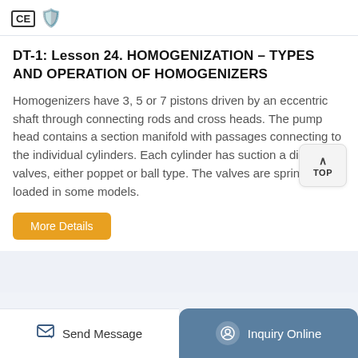[Figure (logo): CE certification logo and orange shield/badge icon in top bar]
DT-1: Lesson 24. HOMOGENIZATION – TYPES AND OPERATION OF HOMOGENIZERS
Homogenizers have 3, 5 or 7 pistons driven by an eccentric shaft through connecting rods and cross heads. The pump head contains a section manifold with passages connecting to the individual cylinders. Each cylinder has suction a discharge valves, either poppet or ball type. The valves are spring loaded in some models.
[Figure (other): TOP navigation button with upward arrow]
[Figure (other): More Details orange button]
Send Message   Inquiry Online